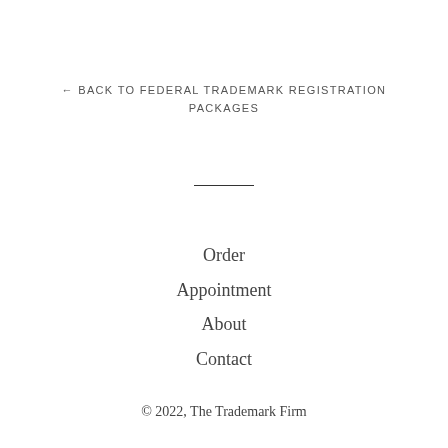← BACK TO FEDERAL TRADEMARK REGISTRATION PACKAGES
Order
Appointment
About
Contact
© 2022, The Trademark Firm